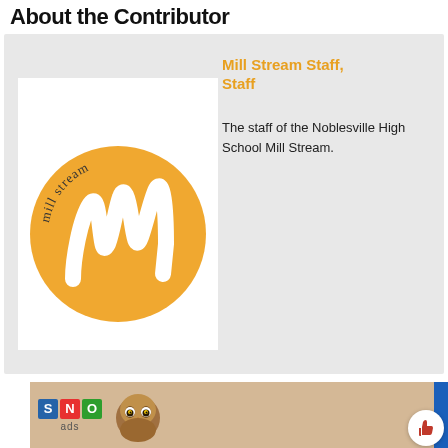About the Contributor
[Figure (logo): Mill Stream publication logo: orange/yellow circle with white stylized 'M' brushstroke and 'mill stream' text arched above]
Mill Stream Staff, Staff
The staff of the Noblesville High School Mill Stream.
[Figure (logo): SNO ads banner with S, N, O colored letter boxes (blue, red, green), 'ads' text below, and an owl photo]